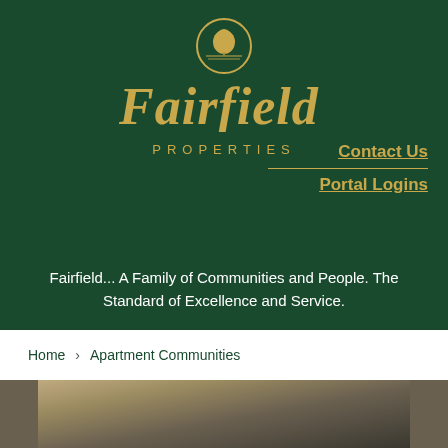[Figure (logo): Fairfield Properties logo with gold tree in circle, script Fairfield text and PROPERTIES in gold on dark green background]
Contact Us
Portal Logins
Fairfield... A Family of Communities and People. The Standard of Excellence and Service.
Home | Apartment Communities
[Figure (photo): Partial photo of a property building at dusk/dawn, dark moody tones]